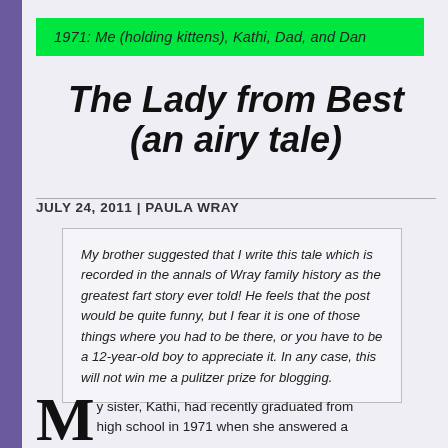1971: Me (holding kittens), Kathi, Dad, and Dan
The Lady from Best (an airy tale)
JULY 24, 2011 | PAULA WRAY
My brother suggested that I write this tale which is recorded in the annals of Wray family history as the greatest fart story ever told! He feels that the post would be quite funny, but I fear it is one of those things where you had to be there, or you have to be a 12-year-old boy to appreciate it. In any case, this will not win me a pulitzer prize for blogging.
My sister, Kathi, had recently graduated from high school in 1971 when she answered a